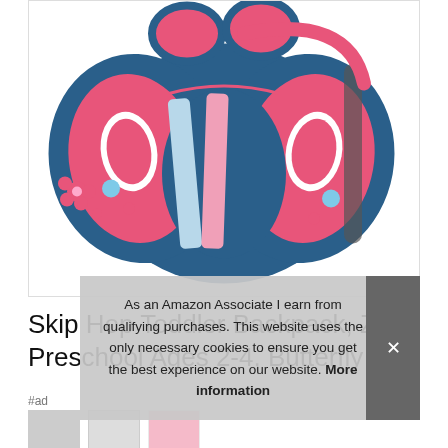[Figure (photo): Skip Hop butterfly toddler backpack in pink and blue colors, shaped like a butterfly with wing-shaped main compartment]
Skip Hop Toddler Backpack, Zoo Preschool Ages 2-4, Butterfly
#ad
As an Amazon Associate I earn from qualifying purchases. This website uses the only necessary cookies to ensure you get the best experience on our website. More information